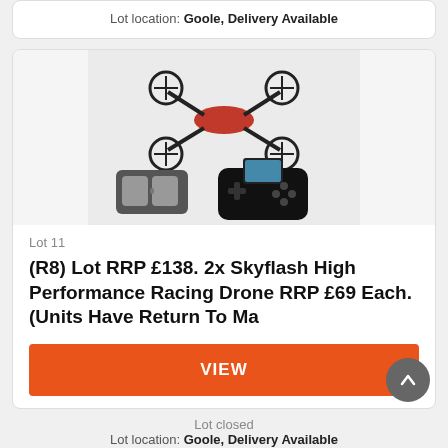Lot location: Goole, Delivery Available
[Figure (photo): A racing drone with red body and black frame, along with VR goggles and a game controller with smartphone attached]
Lot 11
(R8) Lot RRP £138. 2x Skyflash High Performance Racing Drone RRP £69 Each. (Units Have Return To Ma
VIEW
Lot closed
Lot location: Goole, Delivery Available